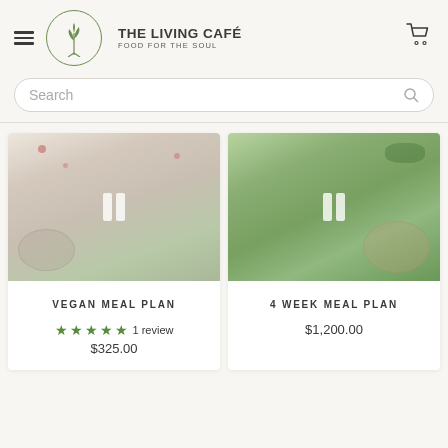THE LIVING CAFÉ — FOOD FOR THE SOUL
Search
[Figure (photo): Overhead shot of vegan meal bowls with fruits and chocolate pieces on white background]
VEGAN MEAL PLAN
★★★★★ 1 review $325.00
[Figure (photo): Photo of healthy salad bowl with greens and vegetables — 4 Week Meal Plan]
4 WEEK MEAL PLAN
$1,200.00